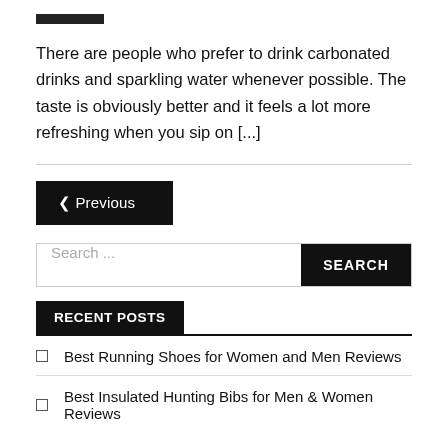[Figure (other): Black horizontal bar/line decoration at top]
There are people who prefer to drink carbonated drinks and sparkling water whenever possible. The taste is obviously better and it feels a lot more refreshing when you sip on [...]
❮ Previous
Search ...
RECENT POSTS
❮  Best Running Shoes for Women and Men Reviews
❮  Best Insulated Hunting Bibs for Men & Women Reviews